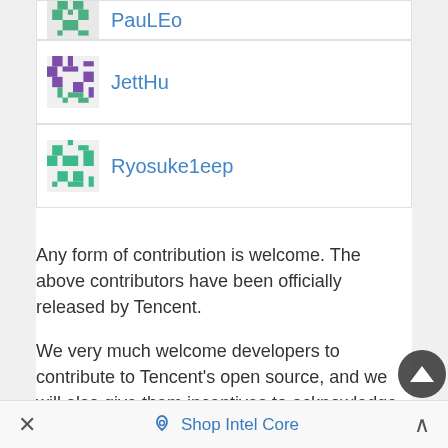JettHu
Ryosuke1eep
Any form of contribution is welcome. The above contributors have been officially released by Tencent.
We very much welcome developers to contribute to Tencent's open source, and we will also give them incentives to acknowledge and thank them. Here we provide an official description of Tencent's open source contribution. Specific contribution rules for each project are formulated by the project team. Developers can choose the appropriate project and participate according to the corresponding rules. The Tencent Project Management Committee will report
× Shop Intel Core ^